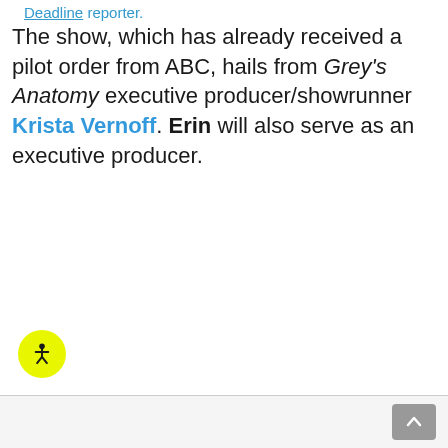Deadline reporter.
The show, which has already received a pilot order from ABC, hails from Grey's Anatomy executive producer/showrunner Krista Vernoff. Erin will also serve as an executive producer.
[Figure (other): Yellow circular accessibility icon button with a person/wheelchair figure in black]
Scroll to top button